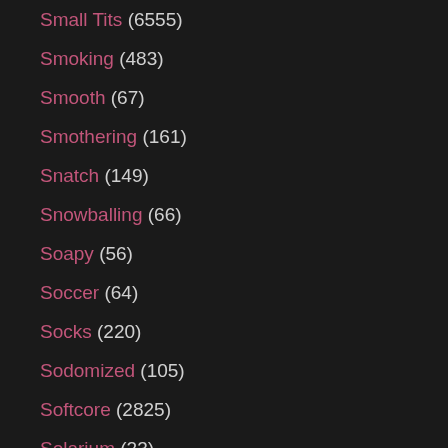Small Tits (6555)
Smoking (483)
Smooth (67)
Smothering (161)
Snatch (149)
Snowballing (66)
Soapy (56)
Soccer (64)
Socks (220)
Sodomized (105)
Softcore (2825)
Solarium (23)
Solo (3751)
Solo Girl (1196)
Solo Mom (54)